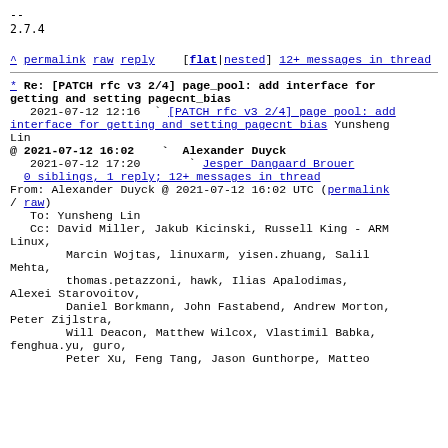--
2.7.4
^ permalink raw reply    [flat|nested] 12+ messages in thread
* Re: [PATCH rfc v3 2/4] page_pool: add interface for getting and setting pagecnt_bias
  2021-07-12 12:16  ` [PATCH rfc v3 2/4] page pool: add interface for getting and setting pagecnt bias Yunsheng Lin
@ 2021-07-12 16:02    ` Alexander Duyck
  2021-07-12 17:20      ` Jesper Dangaard Brouer
  0 siblings, 1 reply; 12+ messages in thread
From: Alexander Duyck @ 2021-07-12 16:02 UTC (permalink / raw)
  To: Yunsheng Lin
  Cc: David Miller, Jakub Kicinski, Russell King - ARM Linux,
          Marcin Wojtas, linuxarm, yisen.zhuang, Salil Mehta,
          thomas.petazzoni, hawk, Ilias Apalodimas, Alexei Starovoitov,
          Daniel Borkmann, John Fastabend, Andrew Morton, Peter Zijlstra,
          Will Deacon, Matthew Wilcox, Vlastimil Babka, fenghua.yu, guro,
          Peter Xu, Feng Tang, Jason Gunthorpe, Matteo